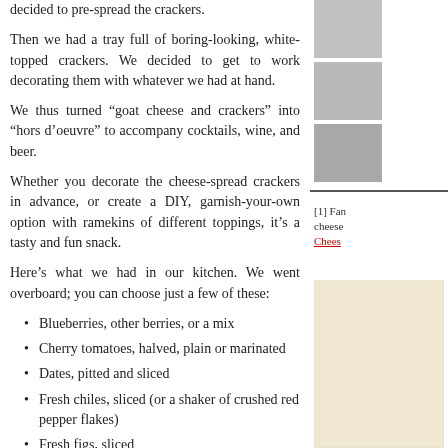decided to pre-spread the crackers.
Then we had a tray full of boring-looking, white-topped crackers. We decided to get to work decorating them with whatever we had at hand.
We thus turned “goat cheese and crackers” into “hors d’oeuvre” to accompany cocktails, wine, and beer.
Whether you decorate the cheese-spread crackers in advance, or create a DIY, garnish-your-own option with ramekins of different toppings, it’s a tasty and fun snack.
Here’s what we had in our kitchen. We went overboard; you can choose just a few of these:
Blueberries, other berries, or a mix
Cherry tomatoes, halved, plain or marinated
Dates, pitted and sliced
Fresh chiles, sliced (or a shaker of crushed red pepper flakes)
Fresh figs, sliced
Fresh julienned basil or thyme leaves
Grapes, halved
Honey Bear for drizzling
Jam: apricot, blueberry, mango, peach, or whatever you have
[1] Fan... cheese... Cheese...